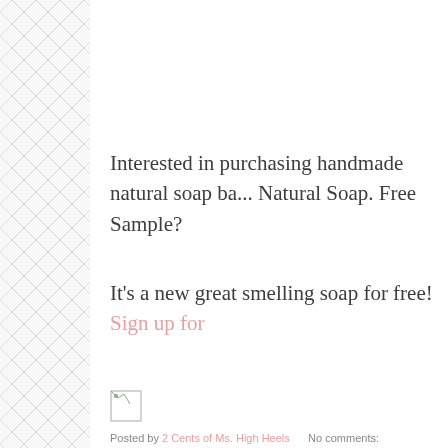[Figure (illustration): Geometric diamond/rhombus repeating pattern sidebar on left, light gray lines on white background]
Interested in purchasing handmade natural soap ba... Natural Soap. Free Sample?
It's a new great smelling soap for free! Sign up for...
[Figure (photo): Small broken/missing image icon]
Posted by 2 Cents of Ms. High Heels    No comments: